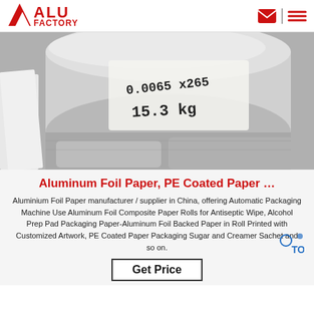[Figure (logo): ALU FACTORY logo in red, triangular shape with text ALU FACTORY]
[Figure (photo): Photo of aluminum foil rolls with handwritten label: 0.0065 x 265, 15.3 kg]
Aluminum Foil Paper, PE Coated Paper …
Aluminium Foil Paper manufacturer / supplier in China, offering Automatic Packaging Machine Use Aluminum Foil Composite Paper Rolls for Antiseptic Wipe, Alcohol Prep Pad Packaging Paper-Aluminum Foil Backed Paper in Roll Printed with Customized Artwork, PE Coated Paper Packaging Sugar and Creamer Sachet and so on.
Get Price